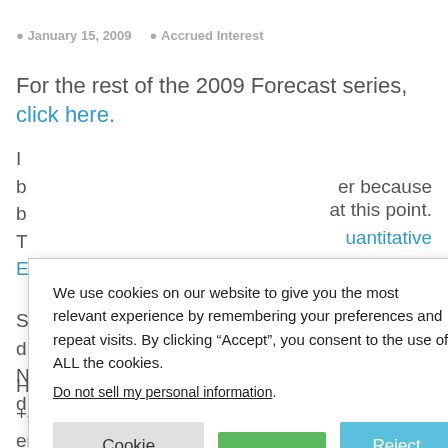January 15, 2009   Accrued Interest
For the rest of the 2009 Forecast series, click here.
I ... ber because b ... at this point. T ... uantitative E ...
We use cookies on our website to give you the most relevant experience by remembering your preferences and repeat visits. By clicking “Accept”, you consent to the use of ALL the cookies.
Do not sell my personal information.
S ... callable) has d ... in October and N ... robably get d ... here.
Historically agency debt traded between +20 and +40bps, but I’d say that in a lower liquidity environment, agency paper won’t get that tight.